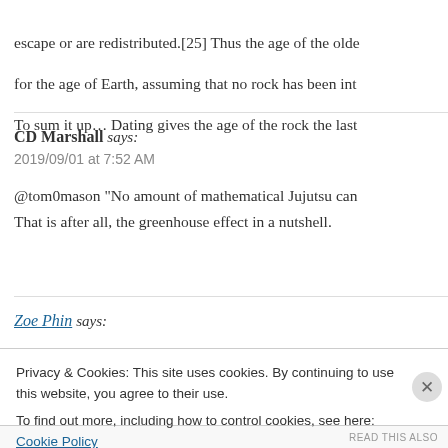escape or are redistributed.[25] Thus the age of the olde for the age of Earth, assuming that no rock has been int To sum it up… Dating gives the age of the rock the last
CD Marshall says:
2019/09/01 at 7:52 AM
@tom0mason "No amount of mathematical Jujutsu can That is after all, the greenhouse effect in a nutshell.
Zoe Phin says:
Privacy & Cookies: This site uses cookies. By continuing to use this website, you agree to their use.
To find out more, including how to control cookies, see here: Cookie Policy
Close and accept